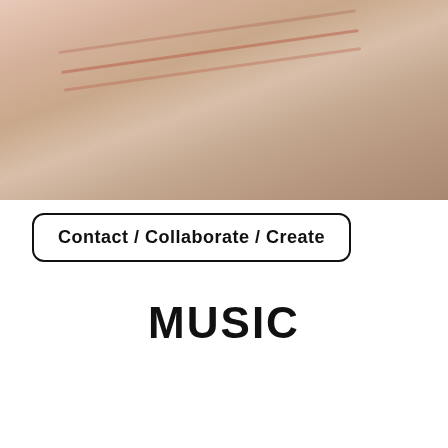[Figure (photo): Close-up photo of skin texture with faint pinkish-red lines/scars visible on a beige/tan skin tone background]
Contact / Collaborate / Create
MUSIC
[Figure (screenshot): SoundCloud widget player showing Ella Biddlecombe - Latest tracks with an orange play button and SoundCloud logo on a dark brownish-red background]